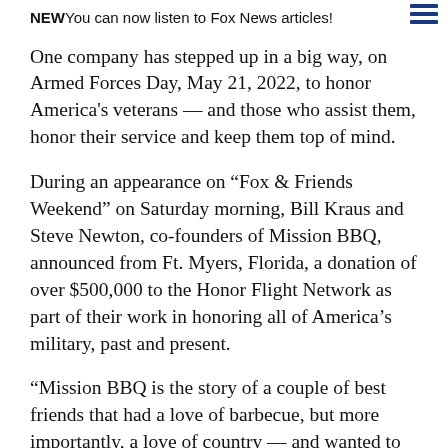NEWYou can now listen to Fox News articles!
One company has stepped up in a big way, on Armed Forces Day, May 21, 2022, to honor America's veterans — and those who assist them, honor their service and keep them top of mind.
During an appearance on “Fox & Friends Weekend” on Saturday morning, Bill Kraus and Steve Newton, co-founders of Mission BBQ, announced from Ft. Myers, Florida, a donation of over $500,000 to the Honor Flight Network as part of their work in honoring all of America’s military, past and present.
“Mission BBQ is the story of a couple of best friends that had a love of barbecue, but more importantly, a love of country — and wanted to build something that meant something,” said Bill Kraus.